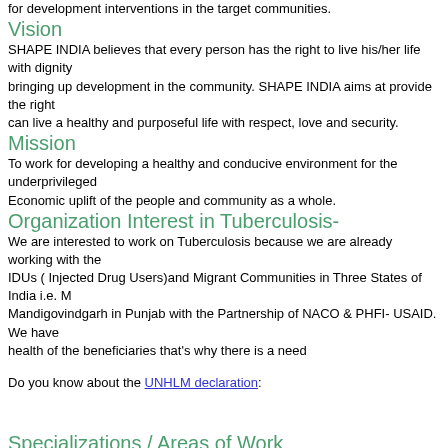for development interventions in the target communities.
Vision
SHAPE INDIA believes that every person has the right to live his/her life with dignity bringing up development in the community. SHAPE INDIA aims at provide the right can live a healthy and purposeful life with respect, love and security.
Mission
To work for developing a healthy and conducive environment for the underprivileged Economic uplift of the people and community as a whole.
Organization Interest in Tuberculosis-
We are interested to work on Tuberculosis because we are already working with the IDUs ( Injected Drug Users)and Migrant Communities in Three States of India i.e. M Mandigovindgarh in Punjab with the Partnership of NACO & PHFI- USAID. We have health of the beneficiaries that's why there is a need
Do you know about the UNHLM declaration:
Specializations / Areas of Work
Advocacy
Delivery of health services and care
Other Organization Information
Total number of staff in your organization:
Number of full-time staff who are directly involved with TB:
Number of part-time staff who are directly involved with TB: